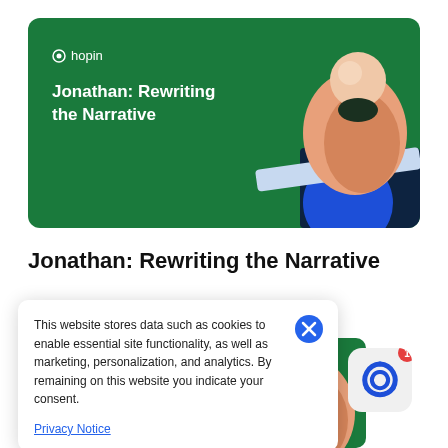[Figure (illustration): Hopin branded hero card with green background showing abstract geometric shapes (peach/salmon torso-like form with a sphere on top, a light blue diagonal bar, and a dark navy/blue circle) as decorative illustration. Hopin logo and title 'Jonathan: Rewriting the Narrative' overlaid in white text.]
Jonathan: Rewriting the Narrative
This website stores data such as cookies to enable essential site functionality, as well as marketing, personalization, and analytics. By remaining on this website you indicate your consent.
Privacy Notice
[Figure (illustration): Partial second Hopin card with green background showing the same abstract illustration (peach form with sphere).]
[Figure (logo): App icon with blue spinning/swirl logo on light grey background with red notification badge showing '1'.]
Suki: Finally Taking a